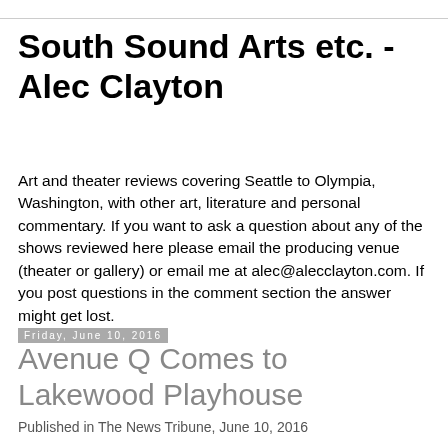South Sound Arts etc. - Alec Clayton
Art and theater reviews covering Seattle to Olympia, Washington, with other art, literature and personal commentary. If you want to ask a question about any of the shows reviewed here please email the producing venue (theater or gallery) or email me at alec@alecclayton.com. If you post questions in the comment section the answer might get lost.
Friday, June 10, 2016
Avenue Q Comes to Lakewood Playhouse
Published in The News Tribune, June 10, 2016